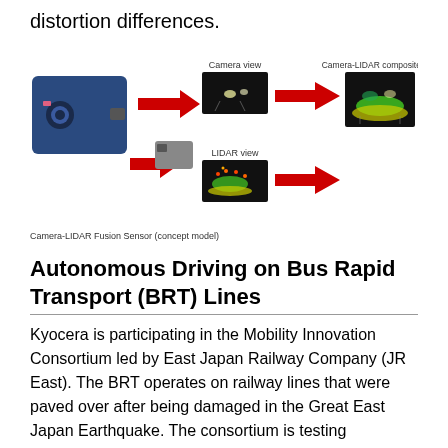distortion differences.
[Figure (schematic): Diagram showing Camera-LIDAR Fusion Sensor (concept model) with arrows pointing to Camera view image and LIDAR view image, both combining into a Camera-LIDAR composite view image.]
Camera-LIDAR Fusion Sensor (concept model)
Autonomous Driving on Bus Rapid Transport (BRT) Lines
Kyocera is participating in the Mobility Innovation Consortium led by East Japan Railway Company (JR East). The BRT operates on railway lines that were paved over after being damaged in the Great East Japan Earthquake. The consortium is testing technologies to make BRT self-driving. We are engaged